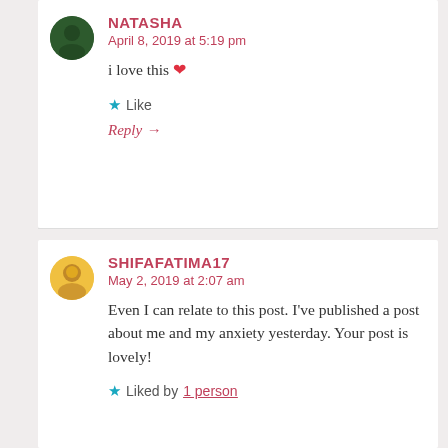NATASHA
April 8, 2019 at 5:19 pm
i love this ❤
★ Like
Reply →
SHIFAFATIMA17
May 2, 2019 at 2:07 am
Even I can relate to this post. I've published a post about me and my anxiety yesterday. Your post is lovely!
★ Liked by 1 person